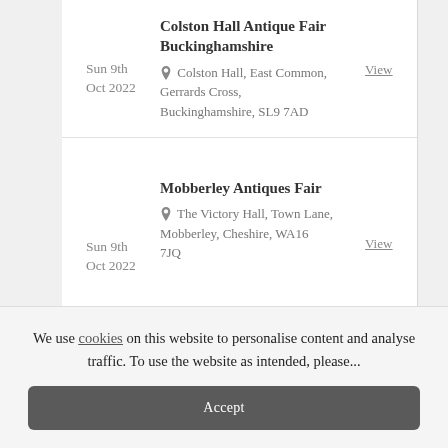Colston Hall Antique Fair Buckinghamshire — Sun 9th Oct 2022 — Colston Hall, East Common, Gerrards Cross, Buckinghamshire, SL9 7AD — View
Mobberley Antiques Fair — Sun 9th Oct 2022 — The Victory Hall, Town Lane, Mobberley, Cheshire, WA16 7JQ — View
We use cookies on this website to personalise content and analyse traffic. To use the website as intended, please...
Accept